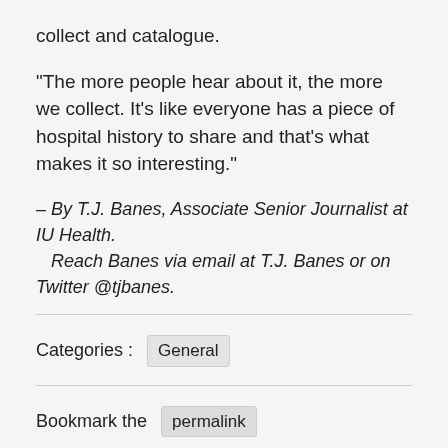collect and catalogue.
“The more people hear about it, the more we collect. It’s like everyone has a piece of hospital history to share and that’s what makes it so interesting.”
– By T.J. Banes, Associate Senior Journalist at IU Health.
    Reach Banes via email at T.J. Banes or on Twitter @tjbanes.
Categories :   General
Bookmark the   permalink